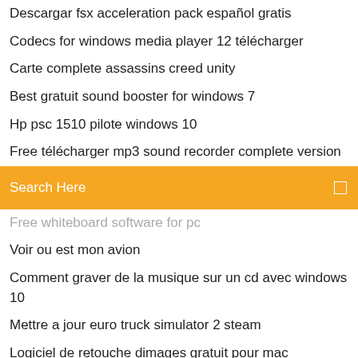Descargar fsx acceleration pack español gratis
Codecs for windows media player 12 télécharger
Carte complete assassins creed unity
Best gratuit sound booster for windows 7
Hp psc 1510 pilote windows 10
Free télécharger mp3 sound recorder complete version
[Figure (other): Orange search bar with text 'Search Here' and a small search icon on the right]
Free whiteboard software for pc
Voir ou est mon avion
Comment graver de la musique sur un cd avec windows 10
Mettre a jour euro truck simulator 2 steam
Logiciel de retouche dimages gratuit pour mac
Panda gratuit antivirus 2020 ß¬átáΓ∞ íÑß»½áΓ¡«
Aerofly fs 2 flight simulator télécharger pc
Wise care 365 pro gratuit key
Regarder match de foot en direct ce soir
Ultimate mortal kombat 3 snes combo list
Logiciel pour changer dip gratuit